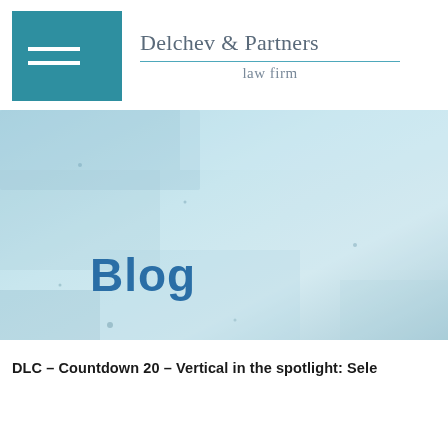[Figure (logo): Delchev & Partners law firm logo: teal square with two white horizontal lines, firm name and 'law firm' subtitle]
[Figure (photo): Light blue textured background banner image with the word 'Blog' written in large bold dark blue text]
DLC – Countdown 20 – Vertical in the spotlight: Sele